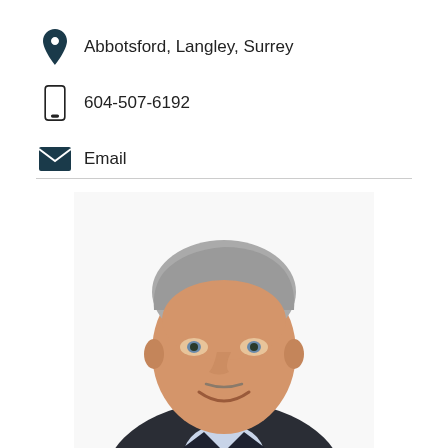Abbotsford, Langley, Surrey
604-507-6192
Email
[Figure (photo): Professional headshot of a middle-aged man with grey hair, wearing a dark suit and light blue shirt, smiling at the camera against a white background.]